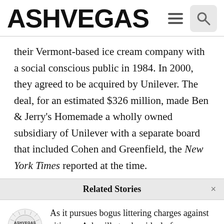ASHVEGAS
their Vermont-based ice cream company with a social conscious public in 1984. In 2000, they agreed to be acquired by Unilever. The deal, for an estimated $326 million, made Ben & Jerry’s Homemade a wholly owned subsidiary of Unilever with a separate board that included Cohen and Greenfield, the New York Times reported at the time.
Related Stories
[Figure (logo): Ashvegas circular logo with stylized text]
As it pursues bogus littering charges against citizens, Asheville trashes ideal of compassionate city